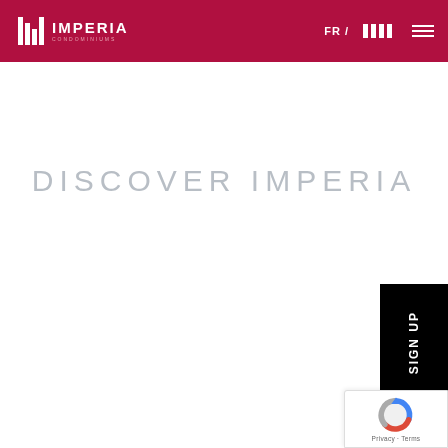[Figure (logo): Imperia Condominiums logo with vertical bar lines and text on dark red/crimson header background, with FR/ language toggle and hamburger menu icon on the right]
DISCOVER IMPERIA
SIGN UP
[Figure (other): Google reCAPTCHA badge with blue/red circular logo and Privacy · Terms text]